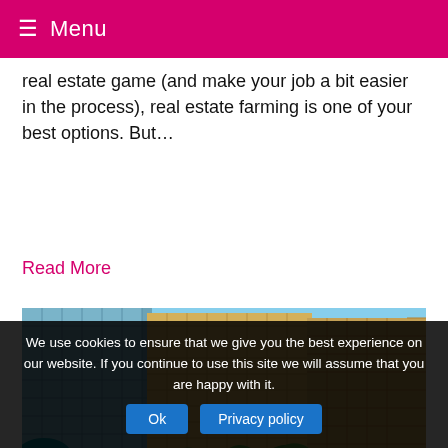≡ Menu
real estate game (and make your job a bit easier in the process), real estate farming is one of your best options. But…
Read More
[Figure (photo): Exterior photo of tall luxury condominium/hotel buildings with palm trees and a pool area with teal beach umbrellas and lounge chairs in the foreground]
We use cookies to ensure that we give you the best experience on our website. If you continue to use this site we will assume that you are happy with it.